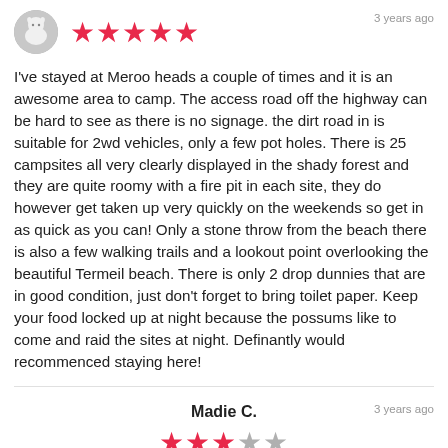[Figure (photo): Circular avatar photo of a white goat or animal]
[Figure (other): 5 filled red/pink stars rating]
3 years ago
I've stayed at Meroo heads a couple of times and it is an awesome area to camp. The access road off the highway can be hard to see as there is no signage. the dirt road in is suitable for 2wd vehicles, only a few pot holes. There is 25 campsites all very clearly displayed in the shady forest and they are quite roomy with a fire pit in each site, they do however get taken up very quickly on the weekends so get in as quick as you can! Only a stone throw from the beach there is also a few walking trails and a lookout point overlooking the beautiful Termeil beach. There is only 2 drop dunnies that are in good condition, just don't forget to bring toilet paper. Keep your food locked up at night because the possums like to come and raid the sites at night. Definantly would recommenced staying here!
Madie C.
[Figure (other): 3 filled red stars and 2 grey stars rating (3 out of 5)]
3 years ago